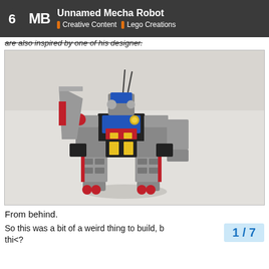Unnamed Mecha Robot | Creative Content | Lego Creations
are also inspired by one of his designer.
[Figure (photo): A Lego mecha robot figure photographed from behind, featuring gray, black, blue, red, and yellow bricks assembled into a humanoid robot form with wing-like extensions on the back.]
From behind.
So this was a bit of a weird thing to build, b
1 / 7